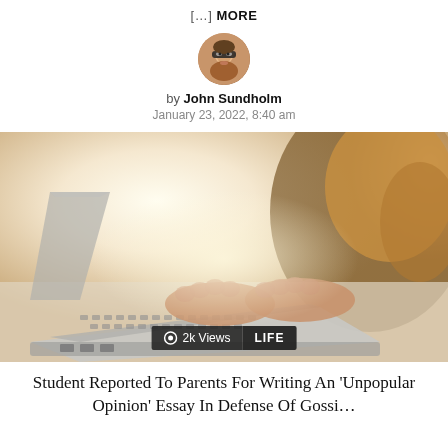[…] MORE
[Figure (photo): Circular author avatar photo of John Sundholm, a man with glasses]
by John Sundholm
January 23, 2022, 8:40 am
[Figure (photo): A person with long hair typing on a laptop computer, shot from the side with warm backlighting. Overlay text shows '2k Views' and 'LIFE'.]
Student Reported To Parents For Writing An 'Unpopular Opinion' Essay In Defense Of Gossi…